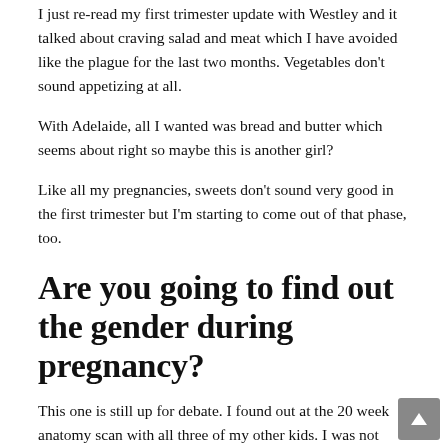I just re-read my first trimester update with Westley and it talked about craving salad and meat which I have avoided like the plague for the last two months. Vegetables don't sound appetizing at all.
With Adelaide, all I wanted was bread and butter which seems about right so maybe this is another girl?
Like all my pregnancies, sweets don't sound very good in the first trimester but I'm starting to come out of that phase, too.
Are you going to find out the gender during pregnancy?
This one is still up for debate. I found out at the 20 week anatomy scan with all three of my other kids. I was not even interested in waiting another couple of hours for a fun gender reveal. We always just found out together in the room during the ultrasound.
Since having Westley (my third) 2.5 years ago I have heard so many stories about people who have waited to find out the sex